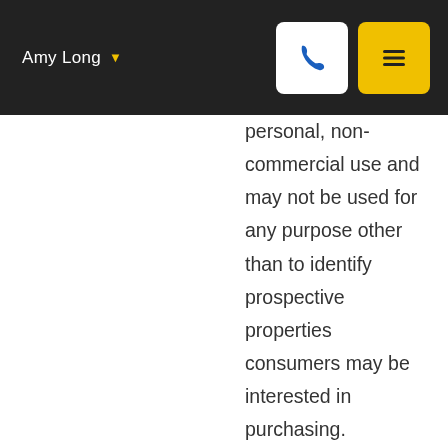Amy Long
personal, non-commercial use and may not be used for any purpose other than to identify prospective properties consumers may be interested in purchasing. Information is deemed reliable but is not guaranteed accurate by the MLS or Weichert, Realtors® - Home Source - Paragould. Broker Reciprocity is the current compilation of active listings of all Broker